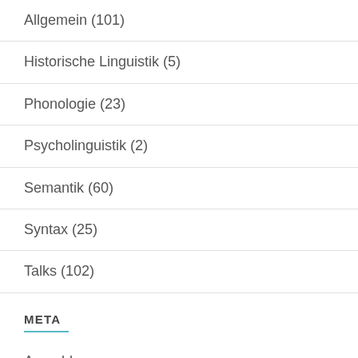Allgemein (101)
Historische Linguistik (5)
Phonologie (23)
Psycholinguistik (2)
Semantik (60)
Syntax (25)
Talks (102)
META
Anmelden